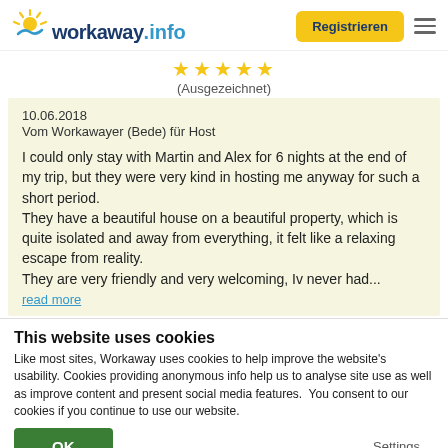workaway.info | Registrieren
★★★★★ (Ausgezeichnet)
10.06.2018
Vom Workawayer (Bede) für Host

I could only stay with Martin and Alex for 6 nights at the end of my trip, but they were very kind in hosting me anyway for such a short period.
They have a beautiful house on a beautiful property, which is quite isolated and away from everything, it felt like a relaxing escape from reality.
They are very friendly and very welcoming, Iv never had...
read more
This website uses cookies
Like most sites, Workaway uses cookies to help improve the website's usability. Cookies providing anonymous info help us to analyse site use as well as improve content and present social media features.  You consent to our cookies if you continue to use our website.
OK
Settings